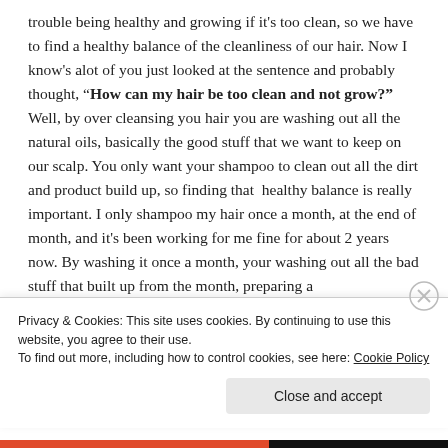trouble being healthy and growing if it's too clean, so we have to find a healthy balance of the cleanliness of our hair. Now I know's alot of you just looked at the sentence and probably thought, "How can my hair be too clean and not grow?" Well, by over cleansing you hair you are washing out all the natural oils, basically the good stuff that we want to keep on our scalp. You only want your shampoo to clean out all the dirt and product build up, so finding that healthy balance is really important. I only shampoo my hair once a month, at the end of month, and it's been working for me fine for about 2 years now. By washing it once a month, your washing out all the bad stuff that built up from the month, preparing a
Privacy & Cookies: This site uses cookies. By continuing to use this website, you agree to their use.
To find out more, including how to control cookies, see here: Cookie Policy
Close and accept